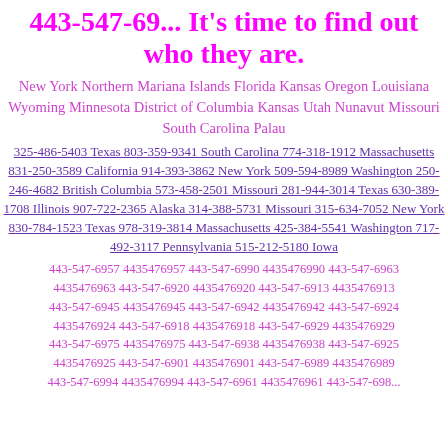443-547-69... It's time to find out who they are.
New York Northern Mariana Islands Florida Kansas Oregon Louisiana Wyoming Minnesota District of Columbia Kansas Utah Nunavut Missouri South Carolina Palau
325-486-5403 Texas 803-359-9341 South Carolina 774-318-1912 Massachusetts 831-250-3589 California 914-393-3862 New York 509-594-8989 Washington 250-246-4682 British Columbia 573-458-2501 Missouri 281-944-3014 Texas 630-389-1708 Illinois 907-722-2365 Alaska 314-388-5731 Missouri 315-634-7052 New York 830-784-1523 Texas 978-319-3814 Massachusetts 425-384-5541 Washington 717-492-3117 Pennsylvania 515-212-5180 Iowa
443-547-6957 4435476957 443-547-6990 4435476990 443-547-6963 4435476963 443-547-6920 4435476920 443-547-6913 4435476913 443-547-6945 4435476945 443-547-6942 4435476942 443-547-6924 4435476924 443-547-6918 4435476918 443-547-6929 4435476929 443-547-6975 4435476975 443-547-6938 4435476938 443-547-6925 4435476925 443-547-6901 4435476901 443-547-6989 4435476989 443-547-6994 4435476994 443-547-6961 4435476961 443-547-698...